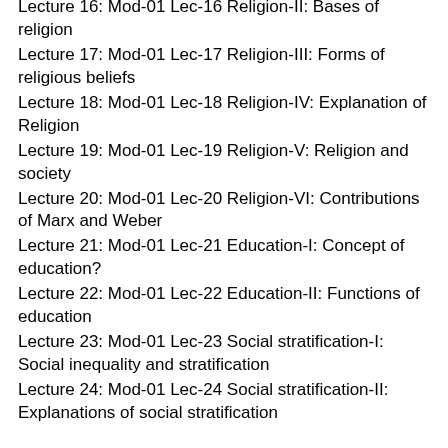Lecture 16: Mod-01 Lec-16 Religion-II: Bases of religion
Lecture 17: Mod-01 Lec-17 Religion-III: Forms of religious beliefs
Lecture 18: Mod-01 Lec-18 Religion-IV: Explanation of Religion
Lecture 19: Mod-01 Lec-19 Religion-V: Religion and society
Lecture 20: Mod-01 Lec-20 Religion-VI: Contributions of Marx and Weber
Lecture 21: Mod-01 Lec-21 Education-I: Concept of education?
Lecture 22: Mod-01 Lec-22 Education-II: Functions of education
Lecture 23: Mod-01 Lec-23 Social stratification-I: Social inequality and stratification
Lecture 24: Mod-01 Lec-24 Social stratification-II: Explanations of social stratification